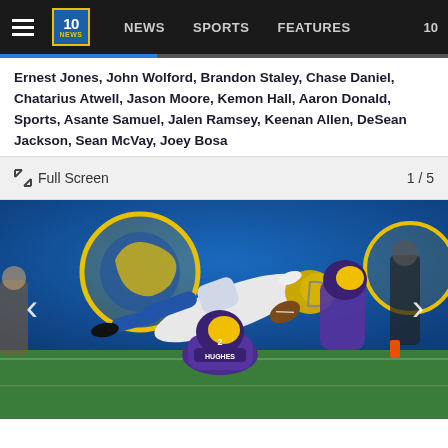10 NEWS | NEWS | SPORTS | FEATURES | 10
Ernest Jones, John Wolford, Brandon Staley, Chase Daniel, Chatarius Atwell, Jason Moore, Kemon Hall, Aaron Donald, Sports, Asante Samuel, Jalen Ramsey, Keenan Allen, DeSean Jackson, Sean McVay, Joey Bosa
Full Screen   1 / 5
[Figure (photo): NFL football action photo showing a Los Angeles Chargers player being tackled by Los Angeles Rams defenders including player Hughes (#2), in a stadium with blue background showing the Rams logo. Navigation arrows visible on left and right sides.]